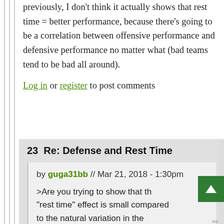previously, I don't think it actually shows that rest time = better performance, because there's going to be a correlation between offensive performance and defensive performance no matter what (bad teams tend to be bad all around).
Log in or register to post comments
23  Re: Defense and Rest Time
by guga31bb // Mar 21, 2018 - 1:30pm
>Are you trying to show that the "rest time" effect is small compared to the natural variation in the drives (as in, small compared to the outcome of the plays)?